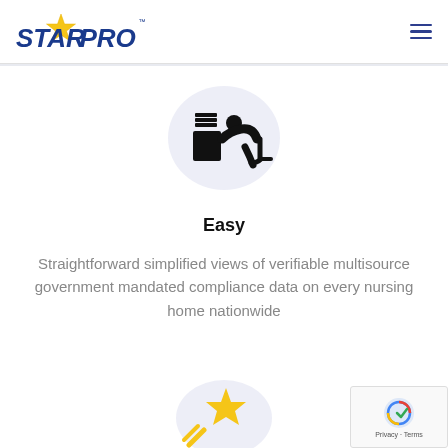[Figure (logo): Star Pro logo with yellow star and blue text reading STAR PRO with TM mark]
[Figure (illustration): Person hunched over desk icon on light blue circular background]
Easy
Straightforward simplified views of verifiable multisource government mandated compliance data on every nursing home nationwide
[Figure (illustration): Yellow shooting star icon on light blue circular background (partially visible at bottom)]
[Figure (other): Google reCAPTCHA badge in bottom right corner showing Privacy and Terms links]